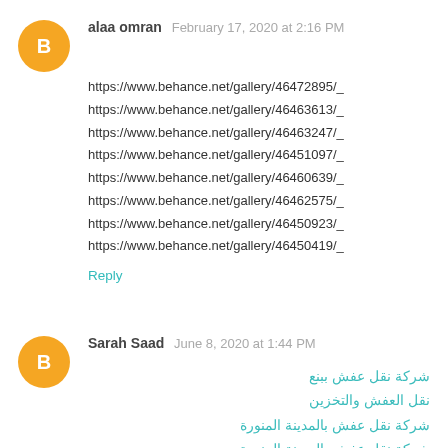alaa omran  February 17, 2020 at 2:16 PM
https://www.behance.net/gallery/46472895/_
https://www.behance.net/gallery/46463613/_
https://www.behance.net/gallery/46463247/_
https://www.behance.net/gallery/46451097/_
https://www.behance.net/gallery/46460639/_
https://www.behance.net/gallery/46462575/_
https://www.behance.net/gallery/46450923/_
https://www.behance.net/gallery/46450419/_
Reply
Sarah Saad  June 8, 2020 at 1:44 PM
شركة نقل عفش ببنع
نقل العفش والتخزين
شركة نقل عفش بالمدينة المنورة
شركة نقل عفش بالمدينة المنورة
شركة نقل عفش